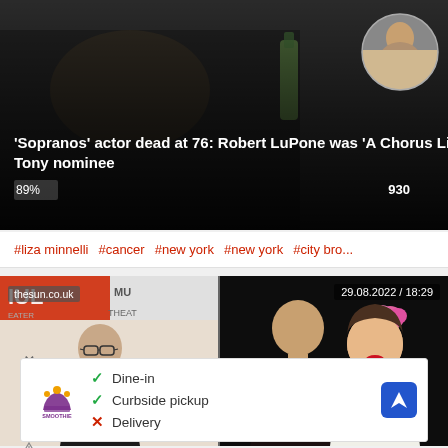[Figure (photo): News article card with dark background photo of a man holding a beer bottle, and circular inset photo of an older man. Headline overlay: 'Sopranos' actor dead at 76: Robert LuPone was 'A Chorus Line' Tony nominee. Shows 89% and 930 engagement metrics.]
#liza minnelli  #cancer  #new york  #new york  #city bro...
[Figure (photo): Left photo: Man in dark blazer at theater event, thesun.co.uk watermark. Right photo: Young man and woman posing together, woman wearing pink flower in hair, timestamp 29.08.2022 / 18:29]
[Figure (infographic): Ad banner for Smoothie King showing: checkmark Dine-in, checkmark Curbside pickup, X Delivery. Navigation icon on right.]